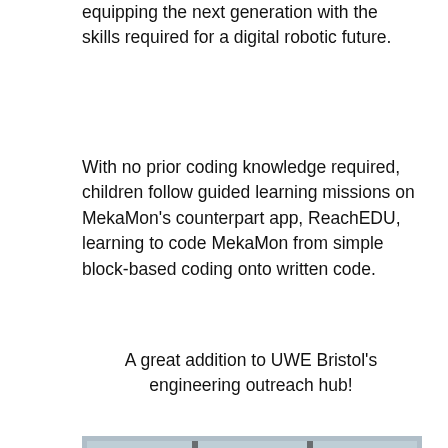equipping the next generation with the skills required for a digital robotic future.
With no prior coding knowledge required, children follow guided learning missions on MekaMon's counterpart app, ReachEDU, learning to code MekaMon from simple block-based coding onto written code.
A great addition to UWE Bristol's engineering outreach hub!
[Figure (photo): Two people smiling in what appears to be an engineering or tech workspace. A woman with blonde hair on the left and a man wearing a headband and headphones on the right, who is holding what appears to be a robot or tech device.]